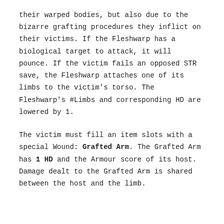their warped bodies, but also due to the bizarre grafting procedures they inflict on their victims. If the Fleshwarp has a biological target to attack, it will pounce. If the victim fails an opposed STR save, the Fleshwarp attaches one of its limbs to the victim's torso. The Fleshwarp's #Limbs and corresponding HD are lowered by 1.
The victim must fill an item slots with a special Wound: Grafted Arm. The Grafted Arm has 1 HD and the Armour score of its host. Damage dealt to the Grafted Arm is shared between the host and the limb.